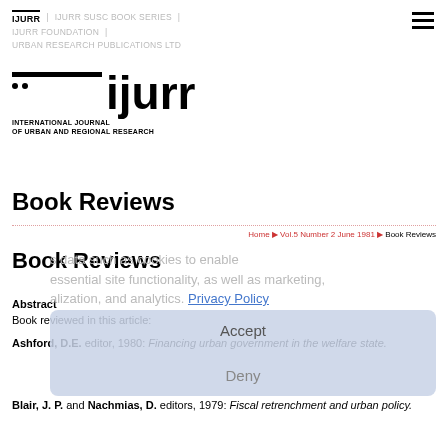IJURR | IJURR SUSC BOOK SERIES | IJURR FOUNDATION | URBAN RESEARCH PUBLICATIONS LTD
[Figure (logo): IJURR logo: ijurr in large bold lowercase with two dots above, International Journal of Urban and Regional Research tagline]
Book Reviews
Home > Vol.5 Number 2 June 1981 > Book Reviews
Book Reviews
uses data such as cookies to enable essential site functionality, as well as marketing, personalization, and analytics. Privacy Policy
Accept
Deny
Abstract
Book reviewed in this article:
Ashford, D.E. editor, 1980: Financing urban government in the welfare state.
Blair, J. P. and Nachmias, D. editors, 1979: Fiscal retrenchment and urban policy.